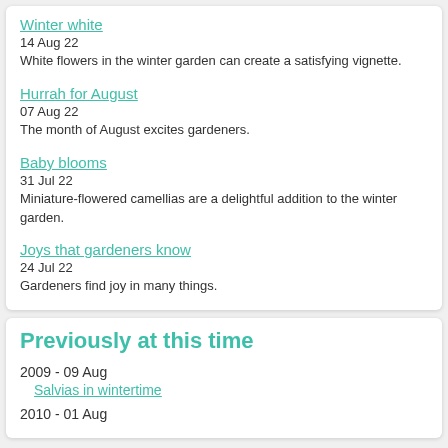Winter white
14 Aug 22
White flowers in the winter garden can create a satisfying vignette.
Hurrah for August
07 Aug 22
The month of August excites gardeners.
Baby blooms
31 Jul 22
Miniature-flowered camellias are a delightful addition to the winter garden.
Joys that gardeners know
24 Jul 22
Gardeners find joy in many things.
Previously at this time
2009 - 09 Aug
Salvias in wintertime
2010 - 01 Aug